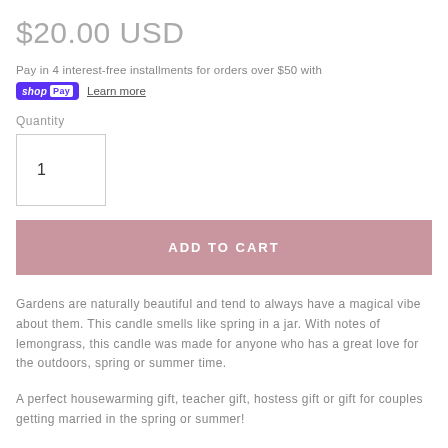$20.00 USD
Pay in 4 interest-free installments for orders over $50 with shop Pay Learn more
Quantity
1
ADD TO CART
Gardens are naturally beautiful and tend to always have a magical vibe about them. This candle smells like spring in a jar. With notes of lemongrass, this candle was made for anyone who has a great love for the outdoors, spring or summer time.
A perfect housewarming gift, teacher gift, hostess gift or gift for couples getting married in the spring or summer!